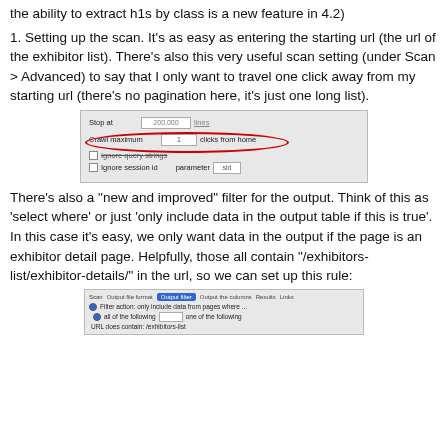the ability to extract h1s by class is a new feature in 4.2)
1. Setting up the scan. It's as easy as entering the starting url (the url of the exhibitor list). There's also this very useful scan setting (under Scan > Advanced) to say that I only want to travel one click away from my starting url (there's no pagination here, it's just one long list).
[Figure (screenshot): Screenshot of scan settings showing 'Stop at 200,000 lines', 'Crawl maximum 1 clicks from home' (circled in red), 'Ignore query strings' (strikethrough), 'Ignore session id parameter sid']
There's also a "new and improved" filter for the output. Think of this as 'select where' or just 'only include data in the output table if this is true'. In this case it's easy, we only want data in the output if the page is an exhibitor detail page. Helpfully, those all contain "/exhibitors-list/exhibitor-details/" in the url, so we can set up this rule:
[Figure (screenshot): Screenshot of output filter settings with tabs: Scan, Output file format, Output filter (active/highlighted), Output the columns, Results, Links. Shows filter options with radio buttons and a text field for URL condition containing '/exhibitors-list'.]